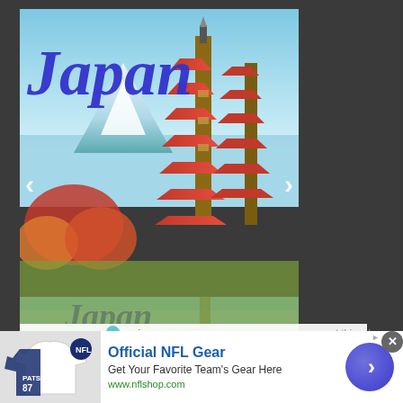[Figure (photo): Japan travel advertisement showing a red pagoda with Mount Fuji in the background, with text 'Japan' in blue italic overlay]
DISCOVER AMAZING TRAVEL SIDESTAGE.COM
ezoic  report this ad
Nowadays, if we become infatuated with a certain game to run on our computer, we only have to access one of the many online stores [...]
[Figure (photo): Second partial Japan travel advertisement (bottom portion), same pagoda image]
[Figure (infographic): NFL gear advertisement banner: 'Official NFL Gear - Get Your Favorite Team's Gear Here - www.nflshop.com' with NFL jersey image and blue circle arrow button]